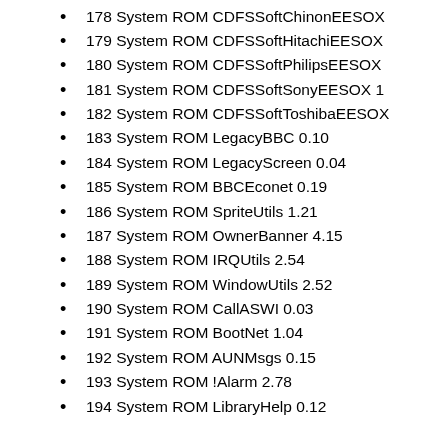178 System ROM CDFSSoftChinonEESOX
179 System ROM CDFSSoftHitachiEESOX
180 System ROM CDFSSoftPhilipsEESOX
181 System ROM CDFSSoftSonyEESOX 1
182 System ROM CDFSSoftToshibaEESOX
183 System ROM LegacyBBC 0.10
184 System ROM LegacyScreen 0.04
185 System ROM BBCEconet 0.19
186 System ROM SpriteUtils 1.21
187 System ROM OwnerBanner 4.15
188 System ROM IRQUtils 2.54
189 System ROM WindowUtils 2.52
190 System ROM CallASWI 0.03
191 System ROM BootNet 1.04
192 System ROM AUNMsgs 0.15
193 System ROM !Alarm 2.78
194 System ROM LibraryHelp 0.12